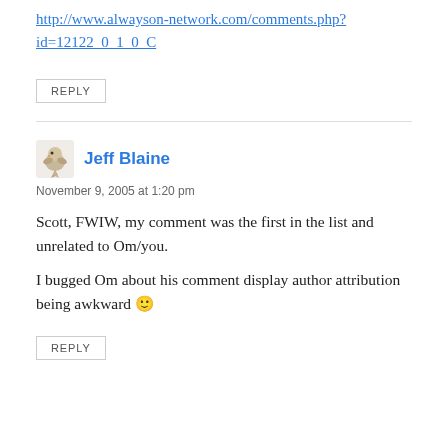http://www.alwayson-network.com/comments.php?id=12122_0_1_0_C
REPLY
Jeff Blaine
November 9, 2005 at 1:20 pm
Scott, FWIW, my comment was the first in the list and unrelated to Om/you.
I bugged Om about his comment display author attribution being awkward 🙂
REPLY